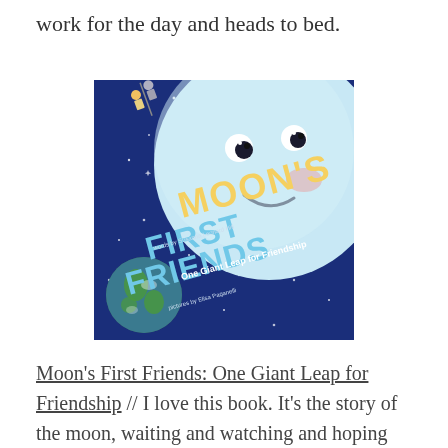work for the day and heads to bed.
[Figure (illustration): Book cover of Moon's First Friends: One Giant Leap for Friendship by Susanna Leonard Hill, illustrated by Elisa Paganelli. Features a smiling moon face against a dark blue starry sky, with tiny astronaut figures at the top left and Earth at the bottom left.]
Moon's First Friends: One Giant Leap for Friendship // I love this book. It's the story of the moon, waiting and watching and hoping